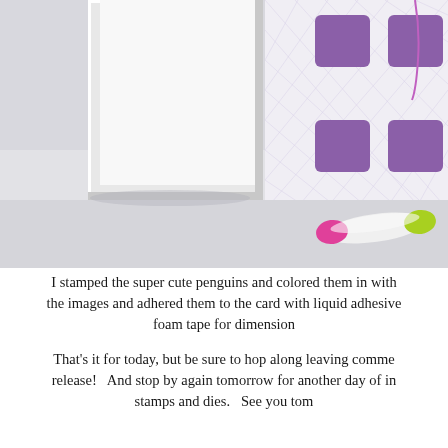[Figure (photo): Close-up photo showing a white ceramic frame or box corner on the left, and a purple-and-white checkered/plaid fabric with purple foam adhesive squares arranged in a grid pattern on the right. In the foreground at the bottom right, a marker or pen with a pink/magenta and lime green cap is visible on a light gray surface.]
I stamped the super cute penguins and colored them in with the images and adhered them to the card with liquid adhesive foam tape for dimension
That's it for today, but be sure to hop along leaving comme release!   And stop by again tomorrow for another day of in stamps and dies.   See you tom